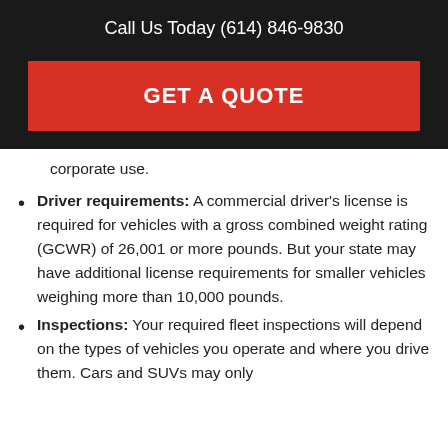Call Us Today (614) 846-9830
GET A QUOTE
corporate use.
Driver requirements: A commercial driver's license is required for vehicles with a gross combined weight rating (GCWR) of 26,001 or more pounds. But your state may have additional license requirements for smaller vehicles weighing more than 10,000 pounds.
Inspections: Your required fleet inspections will depend on the types of vehicles you operate and where you drive them. Cars and SUVs may only